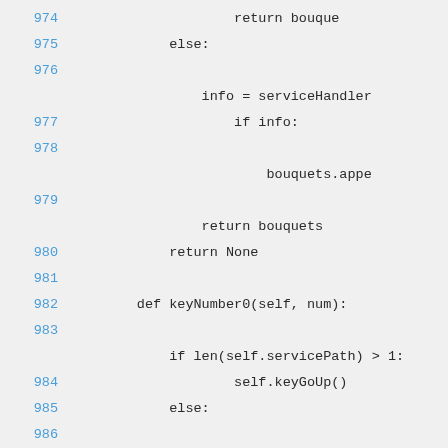974  return bouque
975      else:
976  info = serviceHandler
977          if info:
978  bouquets.appe
979      return bouquets
980      return None
981
982      def keyNumber0(self, num):
983
984          if len(self.servicePath) > 1:
984              self.keyGoUp()
985      else:
986
987          self.keyNumberGlobal(
988